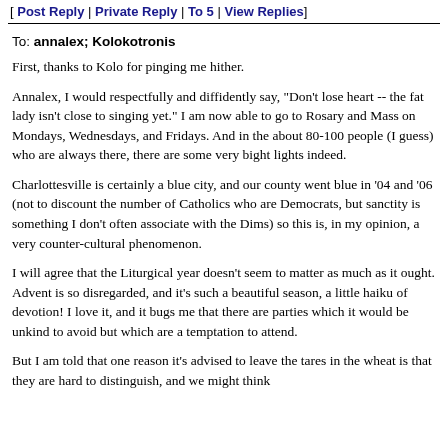[ Post Reply | Private Reply | To 5 | View Replies]
To: annalex; Kolokotronis
First, thanks to Kolo for pinging me hither.
Annalex, I would respectfully and diffidently say, "Don't lose heart -- the fat lady isn't close to singing yet." I am now able to go to Rosary and Mass on Mondays, Wednesdays, and Fridays. And in the about 80-100 people (I guess) who are always there, there are some very bight lights indeed.
Charlottesville is certainly a blue city, and our county went blue in '04 and '06 (not to discount the number of Catholics who are Democrats, but sanctity is something I don't often associate with the Dims) so this is, in my opinion, a very counter-cultural phenomenon.
I will agree that the Liturgical year doesn't seem to matter as much as it ought. Advent is so disregarded, and it's such a beautiful season, a little haiku of devotion! I love it, and it bugs me that there are parties which it would be unkind to avoid but which are a temptation to attend.
But I am told that one reason it's advised to leave the tares in the wheat is that they are hard to distinguish, and we might think